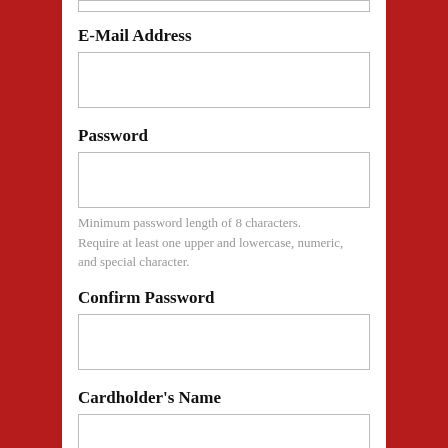E-Mail Address
Password
Minimum password length of 8 characters. Require at least one upper and lowercase, numeric, and special character.
Confirm Password
Cardholder's Name